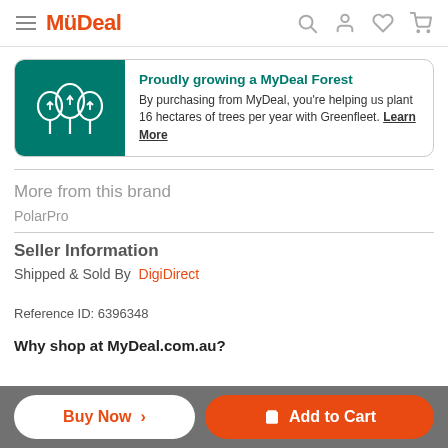MyDeal
[Figure (infographic): Green banner promoting MyDeal Forest with tree icons and text: Proudly growing a MyDeal Forest. By purchasing from MyDeal, you're helping us plant 16 hectares of trees per year with Greenfleet. Learn More]
More from this brand
PolarPro
Seller Information
Shipped & Sold By  DigiDirect
Reference ID: 6396348
Why shop at MyDeal.com.au?